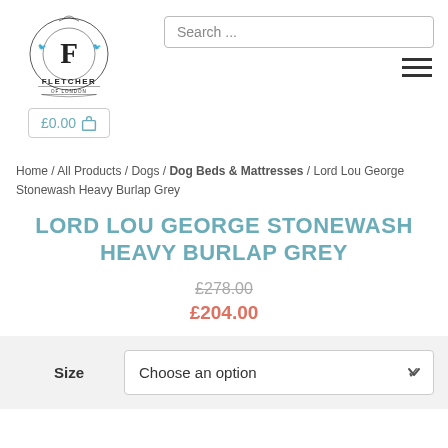[Figure (logo): Fletcher of London logo — ornate crest with letter F, birds, and decorative flourishes. Text reads FLETCHER OF LONDON.]
£0.00 🛒
Search ...
≡
Home / All Products / Dogs / Dog Beds & Mattresses / Lord Lou George Stonewash Heavy Burlap Grey
LORD LOU GEORGE STONEWASH HEAVY BURLAP GREY
£278.00
£204.00
Size    Choose an option